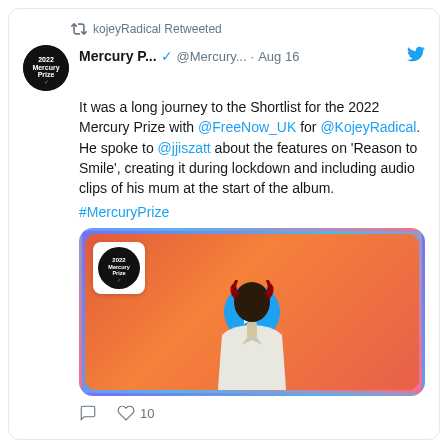kojeyRadical Retweeted
Mercury P... @Mercury... · Aug 16
It was a long journey to the Shortlist for the 2022 Mercury Prize with @FreeNow_UK for @KojeyRadical. He spoke to @jjiszatt about the features on 'Reason to Smile', creating it during lockdown and including audio clips of his mum at the start of the album.
#MercuryPrize
[Figure (screenshot): Video thumbnail showing a person in a white suit against an orange/red background with a Mercury Prize logo in top left and a blue play button overlay]
10